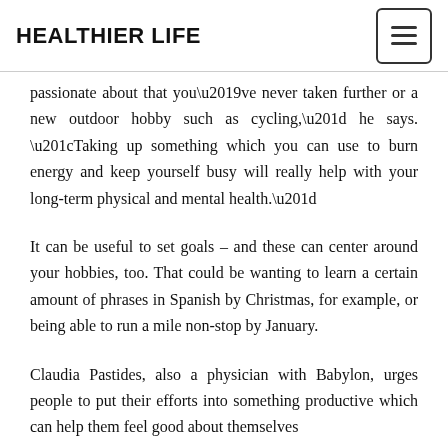HEALTHIER LIFE
passionate about that you’ve never taken further or a new outdoor hobby such as cycling,” he says. “Taking up something which you can use to burn energy and keep yourself busy will really help with your long-term physical and mental health.”
It can be useful to set goals – and these can center around your hobbies, too. That could be wanting to learn a certain amount of phrases in Spanish by Christmas, for example, or being able to run a mile non-stop by January.
Claudia Pastides, also a physician with Babylon, urges people to put their efforts into something productive which can help them feel good about themselves